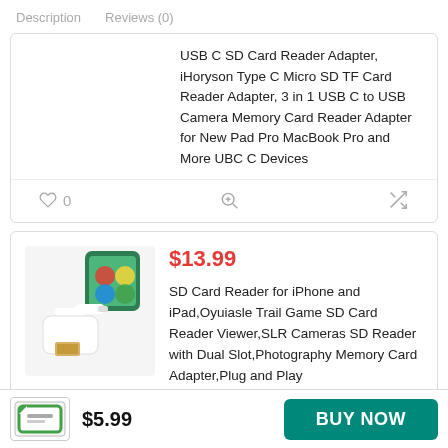Description   Reviews (0)
USB C SD Card Reader Adapter, iHoryson Type C Micro SD TF Card Reader Adapter, 3 in 1 USB C to USB Camera Memory Card Reader Adapter for New Pad Pro MacBook Pro and More UBC C Devices
♡ 0
$13.99
SD Card Reader for iPhone and iPad,Oyuiasle Trail Game SD Card Reader Viewer,SLR Cameras SD Reader with Dual Slot,Photography Memory Card Adapter,Plug and Play
$5.99
BUY NOW